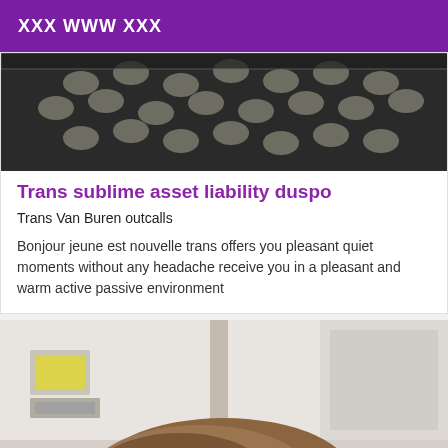XXX WWW XXX
[Figure (photo): Close-up photo of fishnet/mesh fabric texture in black and white tones]
Trans sublime asset liability duspo
Trans Van Buren outcalls
Bonjour jeune est nouvelle trans offers you pleasant quiet moments without any headache receive you in a pleasant and warm active passive environment
[Figure (photo): Indoor bathroom/room photo with a person's head with brown hair visible at bottom, wall-mounted fixture and yellow note on wall visible]